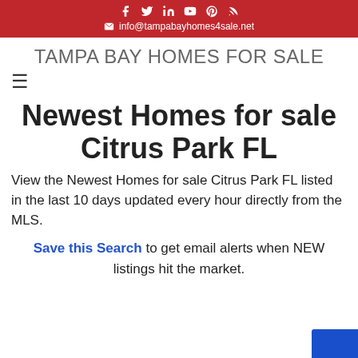Social icons and info@tampabayhomes4sale.net
TAMPA BAY HOMES FOR SALE
Newest Homes for sale Citrus Park FL
View the Newest Homes for sale Citrus Park FL listed in the last 10 days updated every hour directly from the MLS.
Save this Search to get email alerts when NEW listings hit the market.